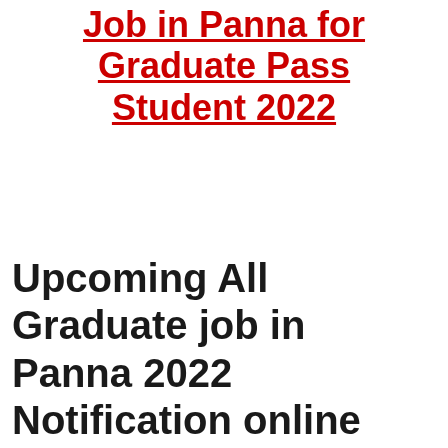Job in Panna for Graduate Pass Student 2022
Upcoming All Graduate job in Panna 2022 Notification online